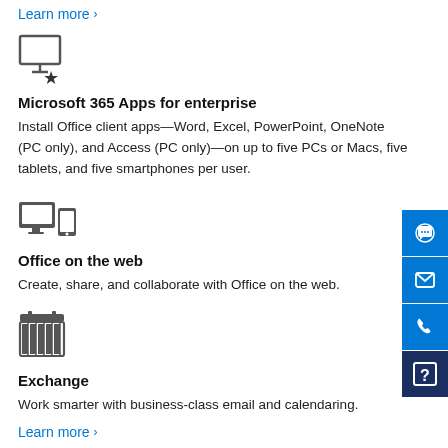Learn more >
[Figure (illustration): Icon of a monitor/computer with a star, representing Microsoft 365 Apps for enterprise]
Microsoft 365 Apps for enterprise
Install Office client apps—Word, Excel, PowerPoint, OneNote (PC only), and Access (PC only)—on up to five PCs or Macs, five tablets, and five smartphones per user.
[Figure (illustration): Icon of a desktop monitor and mobile phone, representing Office on multiple devices]
Office on the web
Create, share, and collaborate with Office on the web.
[Figure (illustration): Icon of a calendar/table grid, representing Exchange]
Exchange
Work smarter with business-class email and calendaring.
Learn more >